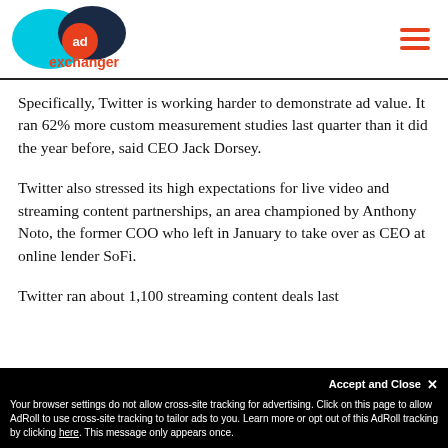[Figure (logo): AdExchanger logo with cyan and dark blue overlapping circles, orange 'ad' badge, and orange 'exchanger' text]
Specifically, Twitter is working harder to demonstrate ad value. It ran 62% more custom measurement studies last quarter than it did the year before, said CEO Jack Dorsey.
Twitter also stressed its high expectations for live video and streaming content partnerships, an area championed by Anthony Noto, the former COO who left in January to take over as CEO at online lender SoFi.
Twitter ran about 1,100 streaming content deals last
Accept and Close ×
Your browser settings do not allow cross-site tracking for advertising. Click on this page to allow AdRoll to use cross-site tracking to tailor ads to you. Learn more or opt out of this AdRoll tracking by clicking here. This message only appears once.